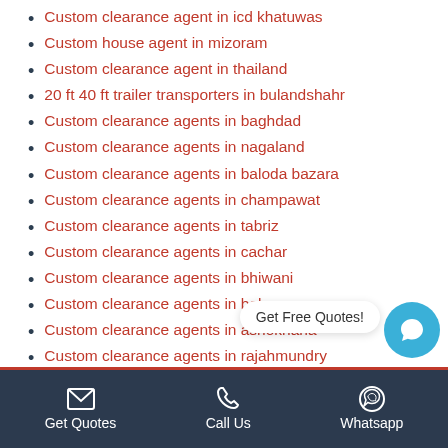Custom clearance agent in icd khatuwas
Custom house agent in mizoram
Custom clearance agent in thailand
20 ft 40 ft trailer transporters in bulandshahr
Custom clearance agents in baghdad
Custom clearance agents in nagaland
Custom clearance agents in baloda bazara
Custom clearance agents in champawat
Custom clearance agents in tabriz
Custom clearance agents in cachar
Custom clearance agents in bhiwani
Custom clearance agents in bokaro
Custom clearance agents in ashoknana
Custom clearance agents in rajahmundry
Get Quotes  Call Us  Whatsapp